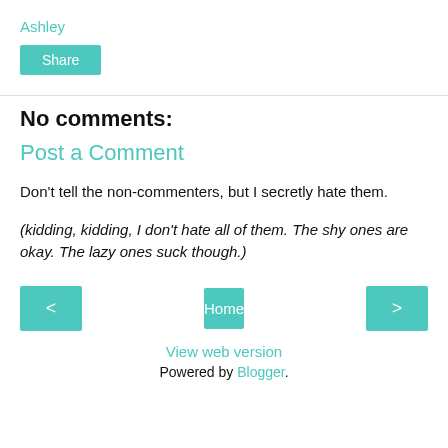Ashley
Share
No comments:
Post a Comment
Don't tell the non-commenters, but I secretly hate them.
(kidding, kidding, I don't hate all of them. The shy ones are okay. The lazy ones suck though.)
Home
View web version
Powered by Blogger.